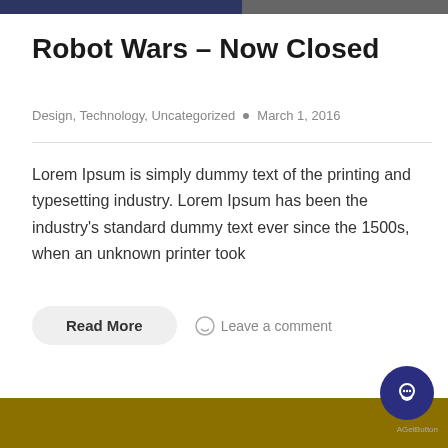Robot Wars – Now Closed
Design, Technology, Uncategorized  •  March 1, 2016
Lorem Ipsum is simply dummy text of the printing and typesetting industry. Lorem Ipsum has been the industry's standard dummy text ever since the 1500s, when an unknown printer took
Read More   Leave a comment